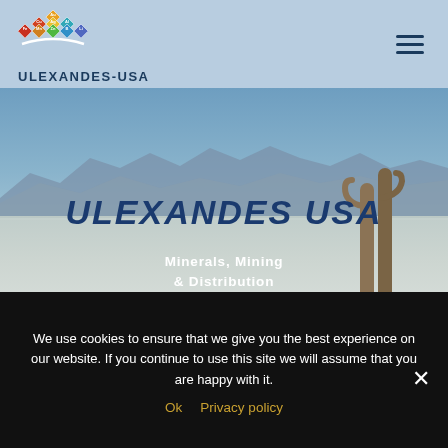Ulexandes-USA
[Figure (logo): Ulexandes-USA logo with colored diamond shapes forming a mountain/triangle pattern and company name below]
ULEXANDES USA
Minerals, Mining & Distribution
[Figure (photo): Hero background photo of a salt flat landscape with mountains in distance and tall cacti on right side]
We use cookies to ensure that we give you the best experience on our website. If you continue to use this site we will assume that you are happy with it.
Ok   Privacy policy